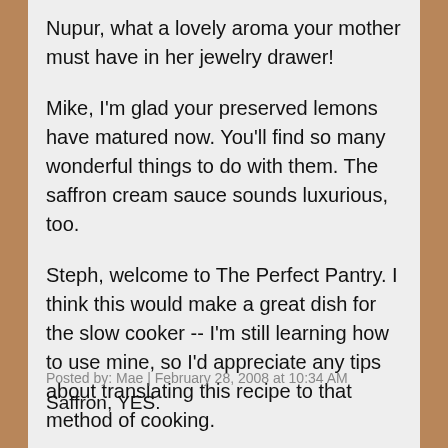Nupur, what a lovely aroma your mother must have in her jewelry drawer!
Mike, I'm glad your preserved lemons have matured now. You'll find so many wonderful things to do with them. The saffron cream sauce sounds luxurious, too.
Steph, welcome to The Perfect Pantry. I think this would make a great dish for the slow cooker -- I'm still learning how to use mine, so I'd appreciate any tips about translating this recipe to that method of cooking.
Stef, thanks for the link -- I've never heard of saffron cupcakes before.
Posted by: Mae | February 28, 2008 at 10:34 AM
Saffron, YES.